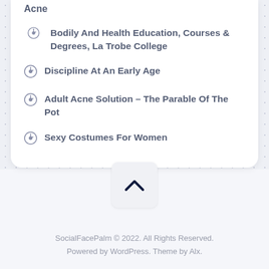Acne
Bodily And Health Education, Courses & Degrees, La Trobe College
Discipline At An Early Age
Adult Acne Solution – The Parable Of The Pot
Sexy Costumes For Women
[Figure (other): Back to top chevron button]
SocialFacePalm © 2022. All Rights Reserved. Powered by WordPress. Theme by Alx.